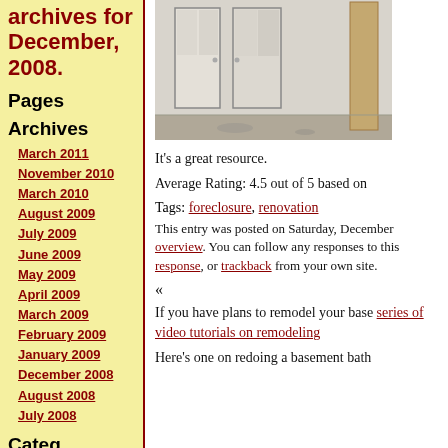archives for December, 2008.
Pages
Archives
March 2011
November 2010
March 2010
August 2009
July 2009
June 2009
May 2009
April 2009
March 2009
February 2009
January 2009
December 2008
August 2008
July 2008
Categories
[Figure (photo): Interior renovation photo showing two doors and a wooden post in a room under construction with bare concrete floor]
It's a great resource.
Average Rating: 4.5 out of 5 based on
Tags: foreclosure, renovation
This entry was posted on Saturday, December overview. You can follow any responses to this response, or trackback from your own site.
«
If you have plans to remodel your base series of video tutorials on remodeling
Here's one on redoing a basement bath